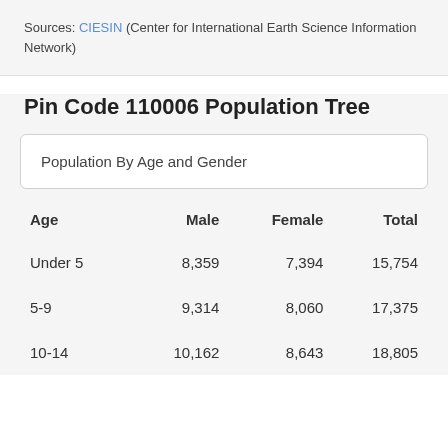Sources: CIESIN (Center for International Earth Science Information Network)
Pin Code 110006 Population Tree
Population By Age and Gender
| Age | Male | Female | Total |
| --- | --- | --- | --- |
| Under 5 | 8,359 | 7,394 | 15,754 |
| 5-9 | 9,314 | 8,060 | 17,375 |
| 10-14 | 10,162 | 8,643 | 18,805 |